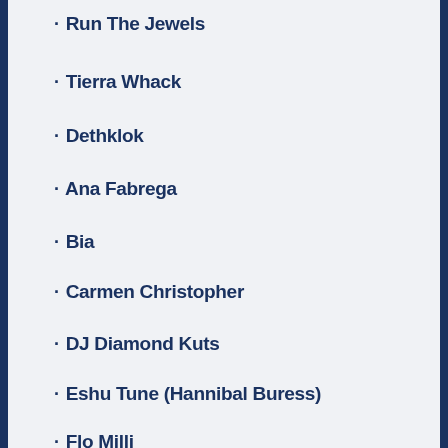Run The Jewels
Tierra Whack
Dethklok
Ana Fabrega
Bia
Carmen Christopher
DJ Diamond Kuts
Eshu Tune (Hannibal Buress)
Flo Milli
Hop Along
Jak Knight